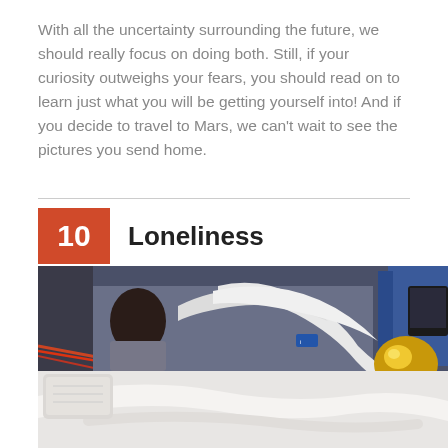With all the uncertainty surrounding the future, we should really focus on doing both. Still, if your curiosity outweighs your fears, you should read on to learn just what you will be getting yourself into! And if you decide to travel to Mars, we can't wait to see the pictures you send home.
10 Loneliness
[Figure (photo): Astronaut in a space station interior with a white robotic arm (likely Robonaut) visible in the foreground, and various equipment and cables in the background.]